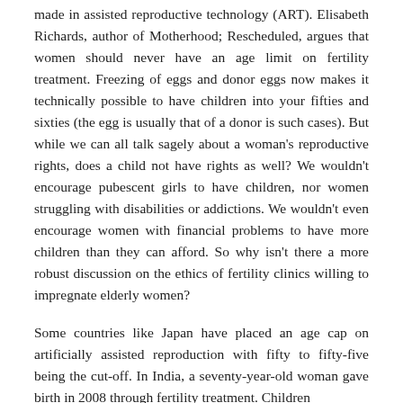made in assisted reproductive technology (ART). Elisabeth Richards, author of Motherhood; Rescheduled, argues that women should never have an age limit on fertility treatment. Freezing of eggs and donor eggs now makes it technically possible to have children into your fifties and sixties (the egg is usually that of a donor is such cases). But while we can all talk sagely about a woman's reproductive rights, does a child not have rights as well? We wouldn't encourage pubescent girls to have children, nor women struggling with disabilities or addictions. We wouldn't even encourage women with financial problems to have more children than they can afford. So why isn't there a more robust discussion on the ethics of fertility clinics willing to impregnate elderly women?
Some countries like Japan have placed an age cap on artificially assisted reproduction with fifty to fifty-five being the cut-off. In India, a seventy-year-old woman gave birth in 2008 through fertility treatment. Children